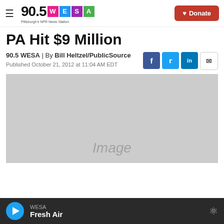90.5 WESA | Pittsburgh's NPR News Station
PA Hit $9 Million
90.5 WESA | By Bill Heltzel/PublicSource
Published October 21, 2012 at 11:04 AM EDT
[Figure (photo): Image placeholder (grey box with 'Image' text)]
WESA | Fresh Air